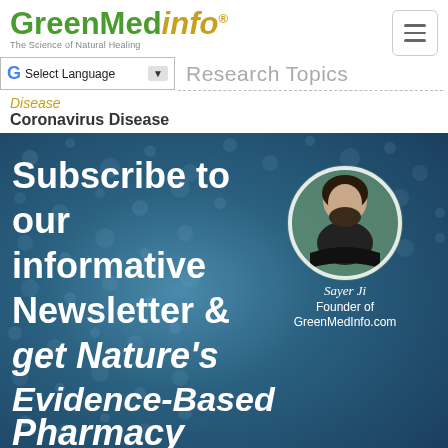[Figure (logo): GreenMedInfo logo — 'Green' and 'Med' in green bold, 'info' in gold italic, with registered trademark symbol, tagline 'The Science of Natural Healing' below]
[Figure (screenshot): Google Translate 'Select Language' dropdown widget with Google G icon]
Research Topics
Disease
Coronavirus Disease
[Figure (infographic): Blue banner with bubble/water texture background showing subscription call-to-action text 'Subscribe to our informative Newsletter & get Nature's Evidence-Based Pharmacy' in bold white, with circular portrait photo of Sayer Ji labeled as Founder of GreenMedInfo.com]
Sayer Ji
Founder of
GreenMedInfo.com